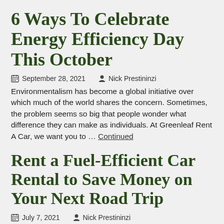6 Ways To Celebrate Energy Efficiency Day This October
September 28, 2021   Nick Prestininzi
Environmentalism has become a global initiative over which much of the world shares the concern. Sometimes, the problem seems so big that people wonder what difference they can make as individuals. At Greenleaf Rent A Car, we want you to … Continued
Rent a Fuel-Efficient Car Rental to Save Money on Your Next Road Trip
July 7, 2021   Nick Prestininzi
As you map out the details for your next big road trip, take some time to consider your mode of transportation. Most people drive their personal vehicle because they assume